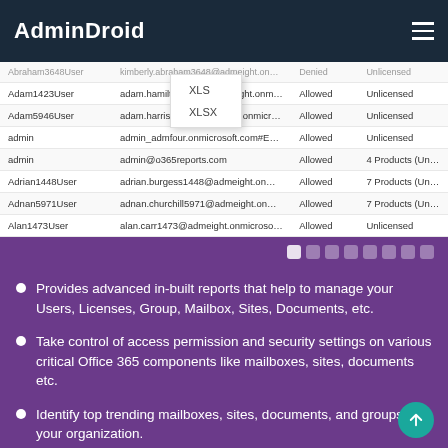AdminDroid
| Username | Email | Status | License |
| --- | --- | --- | --- |
| Abraham3648User | kimberly.abraham3648@admeight.onmicrosoft.com | Denied | Unlicensed |
| Adam1423User | adam.hamilton1423@admeight.onmicrosoft.com | Allowed | Unlicensed |
| Adam5946User | adam.harris5946@admeight.onmicrosoft.com | Allowed | Unlicensed |
| admin | admin_admfour.onmicrosoft.com#EXT#@admeigh... | Allowed | Unlicensed |
| admin | admin@o365reports.com | Allowed | 4 Products (Unclass... |
| Adrian1448User | adrian.burgess1448@admeight.onmicrosoft.com | Allowed | 7 Products (Unclass... |
| Adnan5971User | adnan.churchill5971@admeight.onmicrosoft.com | Allowed | 7 Products (Unclass... |
| Alan1473User | alan.carr1473@admeight.onmicrosoft.com | Allowed | Unlicensed |
[Figure (screenshot): Dropdown menu with XLS and XLSX export options]
Provides advanced in-built reports that help to manage your Users, Licenses, Group, Mailbox, Sites, Documents, etc.
Take control of access permission and security settings on various critical Office 365 components like mailboxes, sites, documents etc.
Identify top trending mailboxes, sites, documents, and groups in your organization.